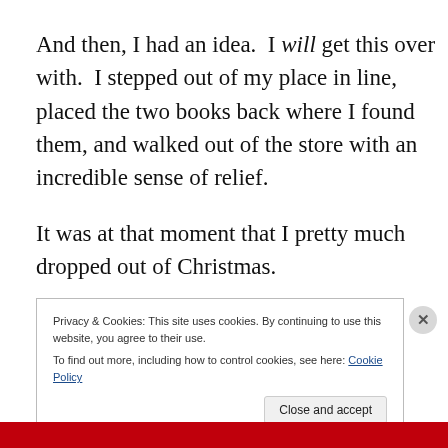And then, I had an idea.  I will get this over with.  I stepped out of my place in line, placed the two books back where I found them, and walked out of the store with an incredible sense of relief.
It was at that moment that I pretty much dropped out of Christmas.
Privacy & Cookies: This site uses cookies. By continuing to use this website, you agree to their use.
To find out more, including how to control cookies, see here: Cookie Policy
Close and accept